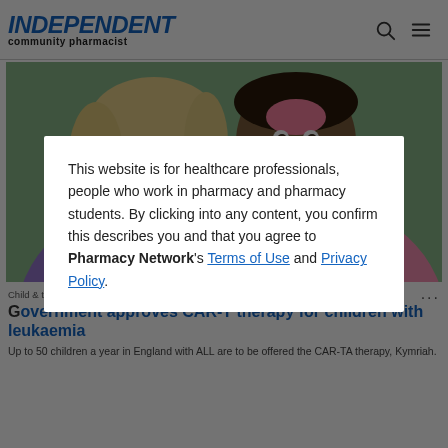INDEPENDENT community pharmacist
[Figure (photo): Two smiling children — one with blonde hair in a purple hoodie, one in a pink hoodie — posing together outdoors with a green background]
Child & teen health
Government approves CAR-T therapy for children with leukaemia
Up to 50 children a year in England with ALL are to be offered the CAR-TA therapy, Kymriah.
This website is for healthcare professionals, people who work in pharmacy and pharmacy students. By clicking into any content, you confirm this describes you and that you agree to Pharmacy Network's Terms of Use and Privacy Policy.